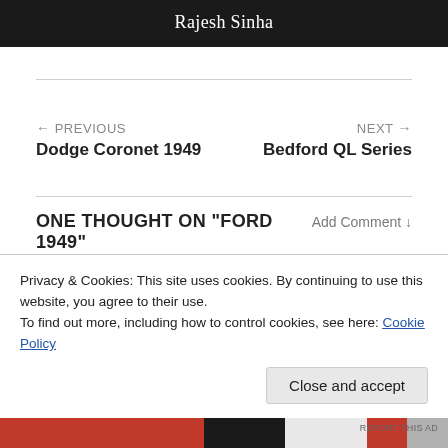Rajesh Sinha
← PREVIOUS
Dodge Coronet 1949
NEXT →
Bedford QL Series
ONE THOUGHT ON "FORD 1949"
Add Comment ↓
Advertisements
Privacy & Cookies: This site uses cookies. By continuing to use this website, you agree to their use.
To find out more, including how to control cookies, see here: Cookie Policy
Close and accept